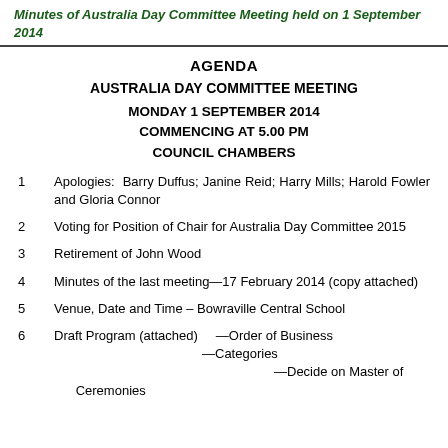Minutes of Australia Day Committee Meeting held on 1 September 2014
AGENDA
AUSTRALIA DAY COMMITTEE MEETING
MONDAY 1 SEPTEMBER 2014
COMMENCING AT 5.00 PM
COUNCIL CHAMBERS
1    Apologies:  Barry Duffus; Janine Reid; Harry Mills; Harold Fowler and Gloria Connor
2    Voting for Position of Chair for Australia Day Committee 2015
3    Retirement of John Wood
4    Minutes of the last meeting—17 February 2014 (copy attached)
5    Venue, Date and Time – Bowraville Central School
6    Draft Program (attached)    —Order of Business
                                   —Categories
                                              —Decide on Master of Ceremonies